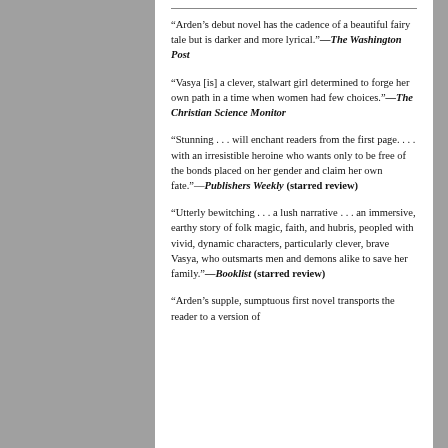“Arden’s debut novel has the cadence of a beautiful fairy tale but is darker and more lyrical.”—The Washington Post
“Vasya [is] a clever, stalwart girl determined to forge her own path in a time when women had few choices.”—The Christian Science Monitor
“Stunning . . . will enchant readers from the first page. . . . with an irresistible heroine who wants only to be free of the bonds placed on her gender and claim her own fate.”—Publishers Weekly (starred review)
“Utterly bewitching . . . a lush narrative . . . an immersive, earthy story of folk magic, faith, and hubris, peopled with vivid, dynamic characters, particularly clever, brave Vasya, who outsmarts men and demons alike to save her family.”—Booklist (starred review)
“Arden’s supple, sumptuous first novel transports the reader to a version of